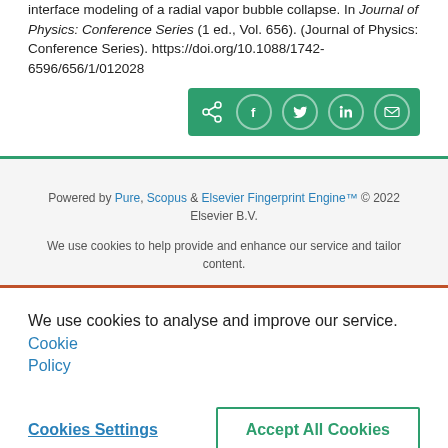interface modeling of a radial vapor bubble collapse. In Journal of Physics: Conference Series (1 ed., Vol. 656). (Journal of Physics: Conference Series). https://doi.org/10.1088/1742-6596/656/1/012028
[Figure (other): Social share button group on green background with share, Facebook, Twitter, LinkedIn, and email icons]
Powered by Pure, Scopus & Elsevier Fingerprint Engine™ © 2022 Elsevier B.V.
We use cookies to help provide and enhance our service and tailor content.
We use cookies to analyse and improve our service. Cookie Policy
Cookies Settings
Accept All Cookies